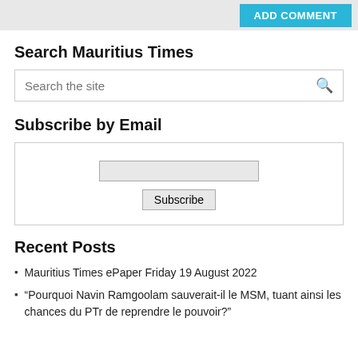[Figure (screenshot): Top bar with ADD COMMENT button in cyan/blue]
Search Mauritius Times
[Figure (screenshot): Search input box with placeholder 'Search the site' and search icon]
Subscribe by Email
[Figure (screenshot): Subscribe by Email widget with an email input field and a Subscribe button]
Recent Posts
Mauritius Times ePaper Friday 19 August 2022
“Pourquoi Navin Ramgoolam sauverait-il le MSM, tuant ainsi les chances du PTr de reprendre le pouvoir?”